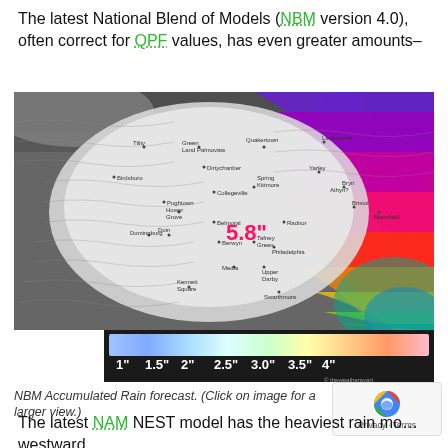The latest National Blend of Models (NBM version 4.0), often correct for QPF values, has even greater amounts–
[Figure (map): NBM Accumulated Rain forecast weather map showing precipitation amounts across a region. A color gradient scale at the bottom shows rainfall from 1" to 4". Central region shows 5.8" in red text. Colors range from white/gray in center to purple, pink, red, orange, yellow, and green on the right side indicating increasing rainfall amounts.]
NBM Accumulated Rain forecast. (Click on image for a larger view.)
The latest NAM NEST model has the heaviest rain mo... westward